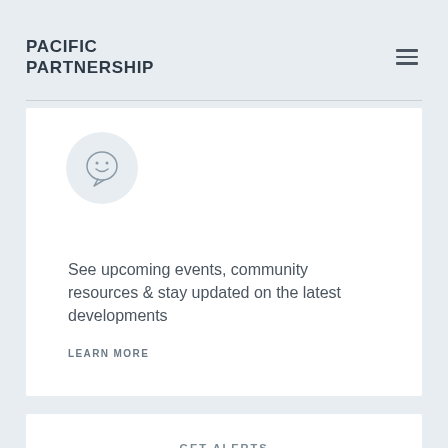PACIFIC PARTNERSHIP
[Figure (illustration): Circular icon with a smiley face / speech bubble on a light gray background circle]
See upcoming events, community resources & stay updated on the latest developments
LEARN MORE
GET ALERTS